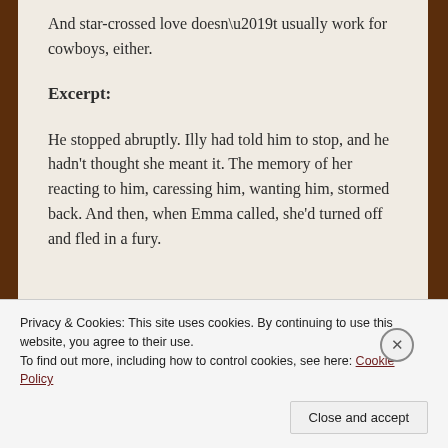And star-crossed love doesn’t usually work for cowboys, either.
Excerpt:
He stopped abruptly. Illy had told him to stop, and he hadn’t thought she meant it. The memory of her reacting to him, caressing him, wanting him, stormed back. And then, when Emma called, she’d turned off and fled in a fury.
Privacy & Cookies: This site uses cookies. By continuing to use this website, you agree to their use.
To find out more, including how to control cookies, see here: Cookie Policy
Close and accept